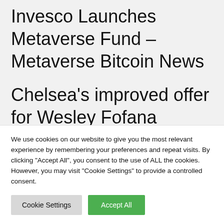Invesco Launches Metaverse Fund – Metaverse Bitcoin News
Chelsea's improved offer for Wesley Fofana rejected by Leicester
We use cookies on our website to give you the most relevant experience by remembering your preferences and repeat visits. By clicking "Accept All", you consent to the use of ALL the cookies. However, you may visit "Cookie Settings" to provide a controlled consent.